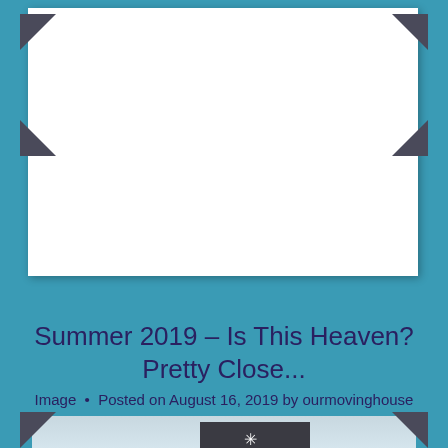[Figure (photo): Polaroid-style photo with sunset landscape showing fields, wooden fence, rolling hills, with a translucent circle overlay containing text: Summer 2019, IS THIS HEAVEN? PRETTY CLOSE..., www.ourmovinghouse.com]
Summer 2019 – Is This Heaven? Pretty Close...
Image  •  Posted on August 16, 2019 by ourmovinghouse
[Figure (photo): Partial bottom polaroid-style photo showing misty landscape with a dark box containing a small snowflake/asterisk icon]